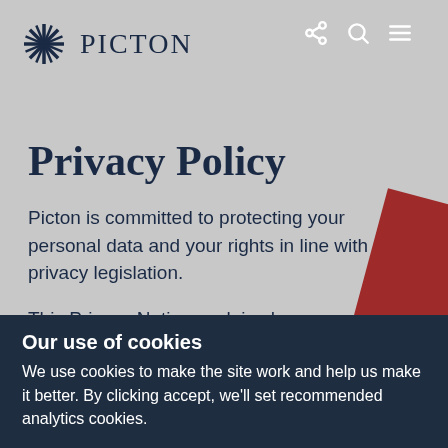Picton
Privacy Policy
Picton is committed to protecting your personal data and your rights in line with privacy legislation.
This Privacy Notice explains how personal information about you (for example, our occupiers,
Our use of cookies
We use cookies to make the site work and help us make it better. By clicking accept, we'll set recommended analytics cookies.